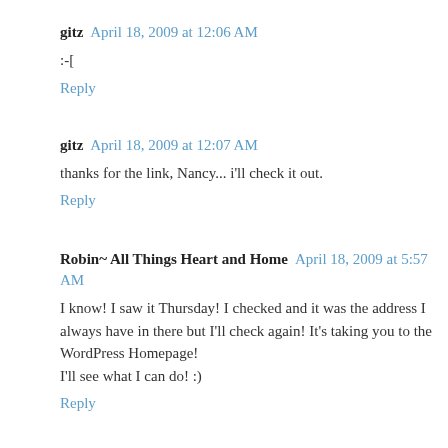gitz  April 18, 2009 at 12:06 AM
:-[
Reply
gitz  April 18, 2009 at 12:07 AM
thanks for the link, Nancy... i'll check it out.
Reply
Robin~ All Things Heart and Home  April 18, 2009 at 5:57 AM
I know! I saw it Thursday! I checked and it was the address I always have in there but I'll check again! It's taking you to the WordPress Homepage!
I'll see what I can do! :)
Reply